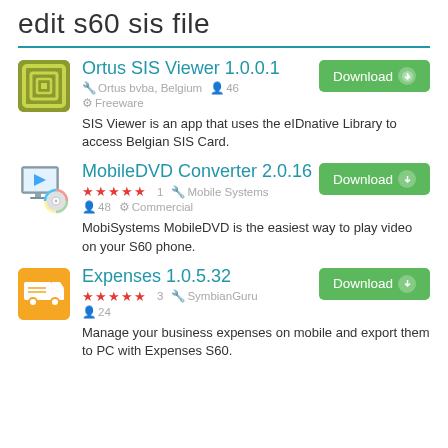edit s60 sis file
Ortus SIS Viewer 1.0.0.1 | Ortus bvba, Belgium | 46 | Freeware | SIS Viewer is an app that uses the eIDnative Library to access Belgian SIS Card.
MobileDVD Converter 2.0.16 | ★★★★★ 1 | Mobile Systems | 48 | Commercial | MobiSystems MobileDVD is the easiest way to play video on your S60 phone.
Expenses 1.0.5.32 | ★★★★★ 3 | SymbianGuru | 24 | Manage your business expenses on mobile and export them to PC with Expenses S60.